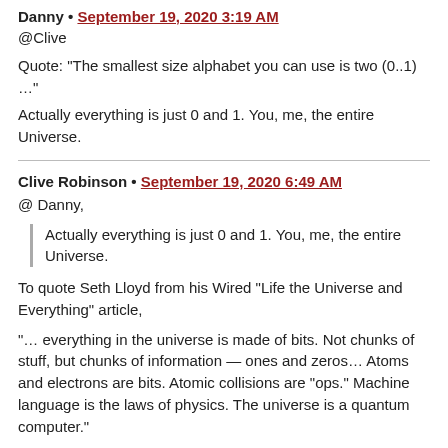Danny • September 19, 2020 3:19 AM
@Clive
Quote: “The smallest size alphabet you can use is two (0..1) …”
Actually everything is just 0 and 1. You, me, the entire Universe.
Clive Robinson • September 19, 2020 6:49 AM
@ Danny,
Actually everything is just 0 and 1. You, me, the entire Universe.
To quote Seth Lloyd from his Wired “Life the Universe and Everything” article,
“… everything in the universe is made of bits. Not chunks of stuff, but chunks of information — ones and zeros… Atoms and electrons are bits. Atomic collisions are “ops.” Machine language is the laws of physics. The universe is a quantum computer.”